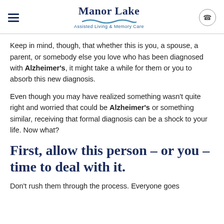Manor Lake — Assisted Living & Memory Care
Keep in mind, though, that whether this is you, a spouse, a parent, or somebody else you love who has been diagnosed with Alzheimer's, it might take a while for them or you to absorb this new diagnosis.
Even though you may have realized something wasn't quite right and worried that could be Alzheimer's or something similar, receiving that formal diagnosis can be a shock to your life. Now what?
First, allow this person – or you – time to deal with it.
Don't rush them through the process. Everyone goes